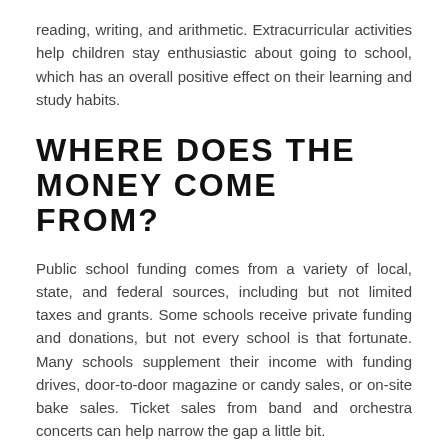reading, writing, and arithmetic. Extracurricular activities help children stay enthusiastic about going to school, which has an overall positive effect on their learning and study habits.
WHERE DOES THE MONEY COME FROM?
Public school funding comes from a variety of local, state, and federal sources, including but not limited taxes and grants. Some schools receive private funding and donations, but not every school is that fortunate. Many schools supplement their income with funding drives, door-to-door magazine or candy sales, or on-site bake sales. Ticket sales from band and orchestra concerts can help narrow the gap a little bit.